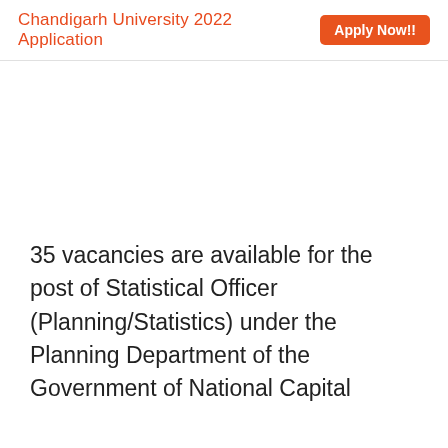Chandigarh University 2022 Application  Apply Now!!
35 vacancies are available for the post of Statistical Officer (Planning/Statistics) under the Planning Department of the Government of National Capital